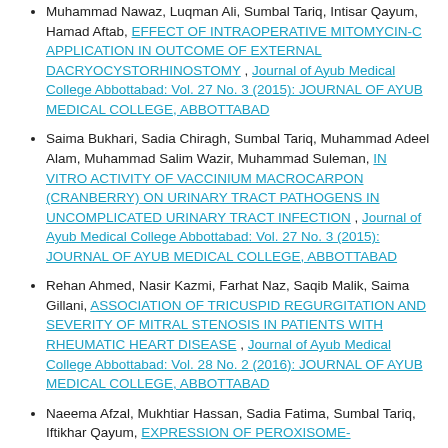Muhammad Nawaz, Luqman Ali, Sumbal Tariq, Intisar Qayum, Hamad Aftab, EFFECT OF INTRAOPERATIVE MITOMYCIN-C APPLICATION IN OUTCOME OF EXTERNAL DACRYOCYSTORHINOSTOMY, Journal of Ayub Medical College Abbottabad: Vol. 27 No. 3 (2015): JOURNAL OF AYUB MEDICAL COLLEGE, ABBOTTABAD
Saima Bukhari, Sadia Chiragh, Sumbal Tariq, Muhammad Adeel Alam, Muhammad Salim Wazir, Muhammad Suleman, IN VITRO ACTIVITY OF VACCINIUM MACROCARPON (CRANBERRY) ON URINARY TRACT PATHOGENS IN UNCOMPLICATED URINARY TRACT INFECTION, Journal of Ayub Medical College Abbottabad: Vol. 27 No. 3 (2015): JOURNAL OF AYUB MEDICAL COLLEGE, ABBOTTABAD
Rehan Ahmed, Nasir Kazmi, Farhat Naz, Saqib Malik, Saima Gillani, ASSOCIATION OF TRICUSPID REGURGITATION AND SEVERITY OF MITRAL STENOSIS IN PATIENTS WITH RHEUMATIC HEART DISEASE, Journal of Ayub Medical College Abbottabad: Vol. 28 No. 2 (2016): JOURNAL OF AYUB MEDICAL COLLEGE, ABBOTTABAD
Naeema Afzal, Mukhtiar Hassan, Sadia Fatima, Sumbal Tariq, Iftikhar Qayum, EXPRESSION OF PEROXISOME-PROLIFERATOR ACTIVATED RECEPTORS-α IN DIABETICS, OBESE AND NORMAL SUBJECTS, Journal of